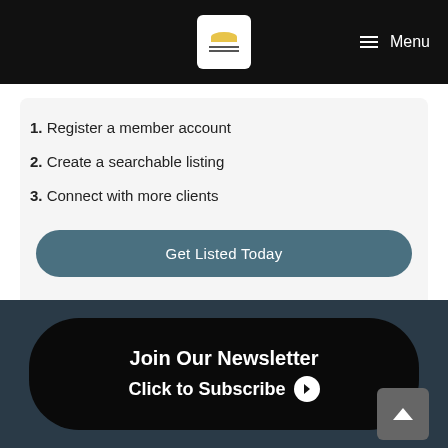[Figure (logo): Website logo with sun and horizontal lines on white background, in black navigation bar with Menu hamburger icon]
1. Register a member account
2. Create a searchable listing
3. Connect with more clients
Get Listed Today
Allianz Care International Health Insurance:Limited Time Offer 5% Online Discount. Promo code: 50AD17 Get a Quote!
Join Our Newsletter Click to Subscribe ❯